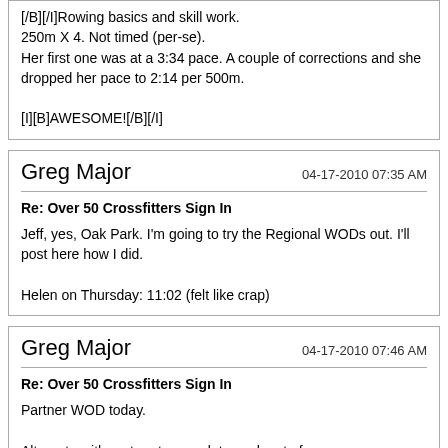[/B][/I]Rowing basics and skill work.
250m X 4. Not timed (per-se).
Her first one was at a 3:34 pace. A couple of corrections and she dropped her pace to 2:14 per 500m.

[I][B]AWESOME![/B][/I]
Greg Major
04-17-2010 07:35 AM
Re: Over 50 Crossfitters Sign In
Jeff, yes, Oak Park. I'm going to try the Regional WODs out. I'll post here how I did.

Helen on Thursday: 11:02 (felt like crap)
Greg Major
04-17-2010 07:46 AM
Re: Over 50 Crossfitters Sign In
Partner WOD today.

Alternate with partner to complete each set of:
60 WB -- did 2 sets of 15
50 Pull-ups 2 sets of 10--partner did 3 sets of 10 on 24"
400m Run
40 Box Jumps 32" Did 2 sets of 10